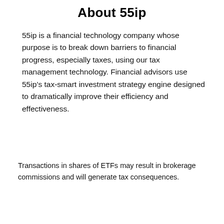About 55ip
55ip is a financial technology company whose purpose is to break down barriers to financial progress, especially taxes, using our tax management technology. Financial advisors use 55ip’s tax-smart investment strategy engine designed to dramatically improve their efficiency and effectiveness.
Transactions in shares of ETFs may result in brokerage commissions and will generate tax consequences.